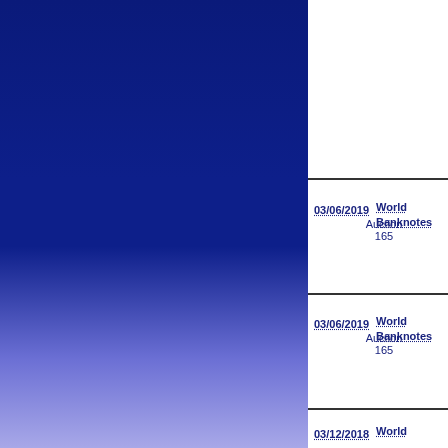[Figure (illustration): Dark navy blue to light periwinkle gradient background panel on the left two-thirds of the page]
03/06/2019 Auction 165 World Banknotes
03/06/2019 Auction 165 World Banknotes
03/12/2018 World